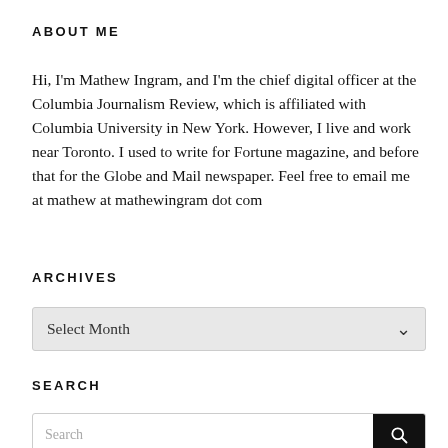ABOUT ME
Hi, I'm Mathew Ingram, and I'm the chief digital officer at the Columbia Journalism Review, which is affiliated with Columbia University in New York. However, I live and work near Toronto. I used to write for Fortune magazine, and before that for the Globe and Mail newspaper. Feel free to email me at mathew at mathewingram dot com
ARCHIVES
[Figure (other): A dropdown select box with label 'Select Month' and a down-arrow chevron, styled with a light gray background and border.]
SEARCH
[Figure (other): A search input box with placeholder text 'Search' and a black search button with a magnifying glass icon on the right.]